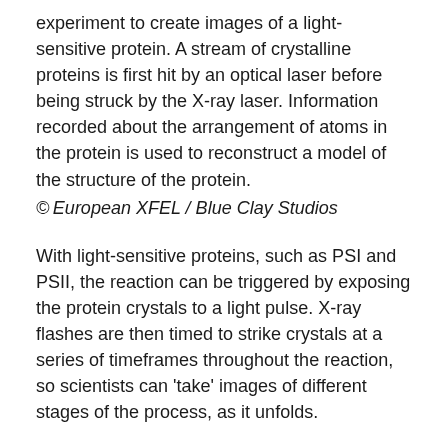experiment to create images of a light-sensitive protein. A stream of crystalline proteins is first hit by an optical laser before being struck by the X-ray laser. Information recorded about the arrangement of atoms in the protein is used to reconstruct a model of the structure of the protein.
© European XFEL / Blue Clay Studios
With light-sensitive proteins, such as PSI and PSII, the reaction can be triggered by exposing the protein crystals to a light pulse. X-ray flashes are then timed to strike crystals at a series of timeframes throughout the reaction, so scientists can 'take' images of different stages of the process, as it unfolds.
At the European XFEL, scientists have tested this experimental setup using another light-sensitive protein and will now use the setup to make molecular movies of PSI and PSII.[3, 4]